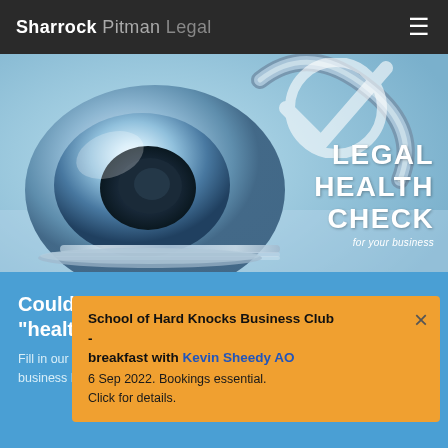Sharrock Pitman Legal
[Figure (photo): Close-up photo of a stethoscope head on a light blue background, with 'LEGAL HEALTH CHECK for your business' text overlay in white on the right side]
Could your business do with a "health check"?
Fill in our short questionnaire to get specific business legal health-check advice!
School of Hard Knocks Business Club
-
breakfast with Kevin Sheedy AO
6 Sep 2022. Bookings essential.
Click for details.